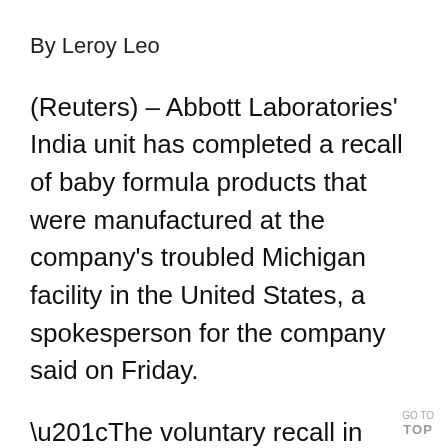By Leroy Leo
(Reuters) – Abbott Laboratories' India unit has completed a recall of baby formula products that were manufactured at the company's troubled Michigan facility in the United States, a spokesperson for the company said on Friday.
“The voluntary recall in India impacted Alimentum and EleCare (brands). No other Abbott nutrition products, or Similac products, distributed in India were affected by the recall,” the spokesperson told
GO TO TOP